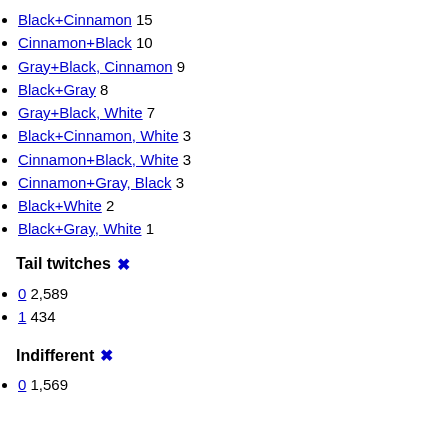Black+Cinnamon 15
Cinnamon+Black 10
Gray+Black, Cinnamon 9
Black+Gray 8
Gray+Black, White 7
Black+Cinnamon, White 3
Cinnamon+Black, White 3
Cinnamon+Gray, Black 3
Black+White 2
Black+Gray, White 1
Tail twitches ✕
0 2,589
1 434
Indifferent ✕
0 1,569